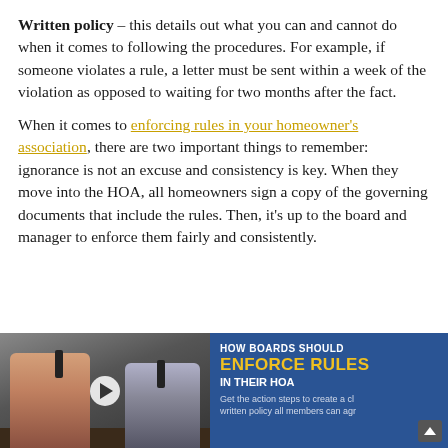Written policy – this details out what you can and cannot do when it comes to following the procedures. For example, if someone violates a rule, a letter must be sent within a week of the violation as opposed to waiting for two months after the fact.
When it comes to enforcing rules in your homeowner's association, there are two important things to remember: ignorance is not an excuse and consistency is key. When they move into the HOA, all homeowners sign a copy of the governing documents that include the rules. Then, it's up to the board and manager to enforce them fairly and consistently.
[Figure (other): Promotional banner with a photo of two men in a podcast-style recording session and text: HOW BOARDS SHOULD ENFORCE RULES IN THEIR HOA. Get the action steps to create a clear written policy all members can agree on.]